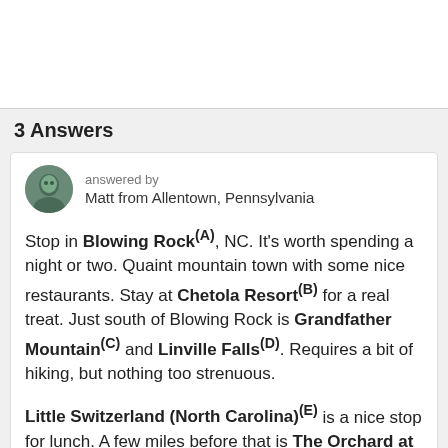3 Answers
answered by
Matt from Allentown, Pennsylvania
Stop in Blowing Rock(A), NC. It's worth spending a night or two. Quaint mountain town with some nice restaurants. Stay at Chetola Resort(B) for a real treat. Just south of Blowing Rock is Grandfather Mountain(C) and Linville Falls(D). Requires a bit of hiking, but nothing too strenuous.
Little Switzerland (North Carolina)(E) is a nice stop for lunch. A few miles before that is The Orchard at Altapass(F). You can pick your own apples in season (autumn) but the shop has lots of goodies. There are